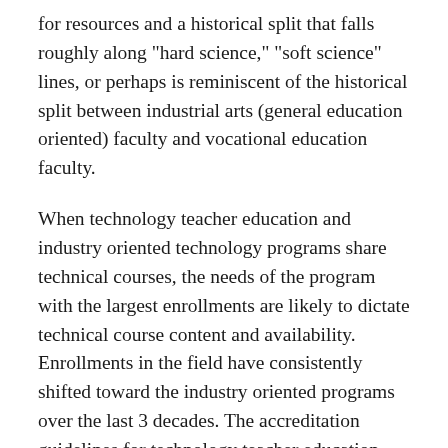for resources and a historical split that falls roughly along "hard science," "soft science" lines, or perhaps is reminiscent of the historical split between industrial arts (general education oriented) faculty and vocational education faculty.
When technology teacher education and industry oriented technology programs share technical courses, the needs of the program with the largest enrollments are likely to dictate technical course content and availability. Enrollments in the field have consistently shifted toward the industry oriented programs over the last 3 decades. The accreditation guidelines for technology teacher education, industrial technology and engineering technology are very different. This is predictably considering differentrofessions which